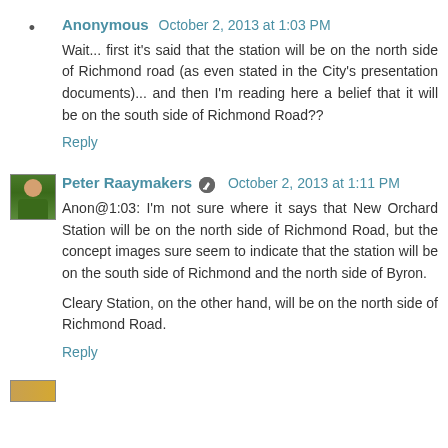Anonymous  October 2, 2013 at 1:03 PM
Wait... first it's said that the station will be on the north side of Richmond road (as even stated in the City's presentation documents)... and then I'm reading here a belief that it will be on the south side of Richmond Road??
Reply
Peter Raaymakers  October 2, 2013 at 1:11 PM
Anon@1:03: I'm not sure where it says that New Orchard Station will be on the north side of Richmond Road, but the concept images sure seem to indicate that the station will be on the south side of Richmond and the north side of Byron.

Cleary Station, on the other hand, will be on the north side of Richmond Road.
Reply